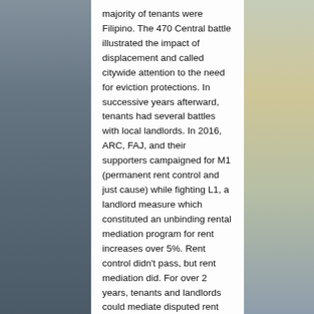majority of tenants were Filipino. The 470 Central battle illustrated the impact of displacement and called citywide attention to the need for eviction protections. In successive years afterward, tenants had several battles with local landlords. In 2016, ARC, FAJ, and their supporters campaigned for M1 (permanent rent control and just cause) while fighting L1, a landlord measure which constituted an unbinding rental mediation program for rent increases over 5%. Rent control didn't pass, but rent mediation did. For over 2 years, tenants and landlords could mediate disputed rent increases, but only if tenants knew that they had this option (many did not), and only if the landlords were willing to negotiate.
But victory was only on the horizon! Last year,